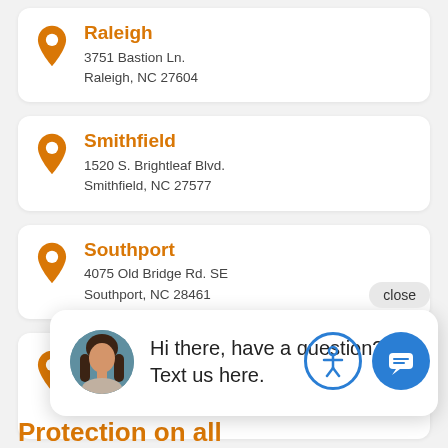Raleigh
3751 Bastion Ln.
Raleigh, NC 27604
Smithfield
1520 S. Brightleaf Blvd.
Smithfield, NC 27577
Southport
4075 Old Bridge Rd. SE
Southport, NC 28461
Wilm[ington]
3417 E[...]
Wilmin[gton, NC ...]
close
Hi there, have a question? Text us here.
[Figure (illustration): Circular accessibility icon (person with outstretched arms in blue circle outline)]
[Figure (illustration): Blue filled circle with white chat/message icon]
Protection on all